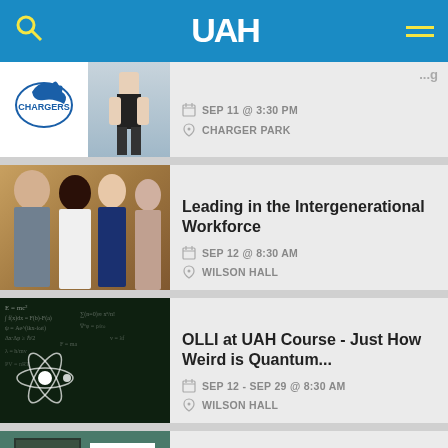UAH
[Figure (screenshot): UAH Chargers logo with soccer player photo, partial event card]
SEP 11 @ 3:30 PM  CHARGER PARK
[Figure (photo): Group of four professionals smiling - event for Leading in the Intergenerational Workforce]
Leading in the Intergenerational Workforce
SEP 12 @ 8:30 AM  WILSON HALL
[Figure (photo): Chalkboard with physics equations and atom illustration]
OLLI at UAH Course - Just How Weird is Quantum...
SEP 12 - SEP 29 @ 8:30 AM  WILSON HALL
[Figure (photo): Russian flag and chalkboard, partial event card]
OLLI at UAH Course - Russian for Travelers